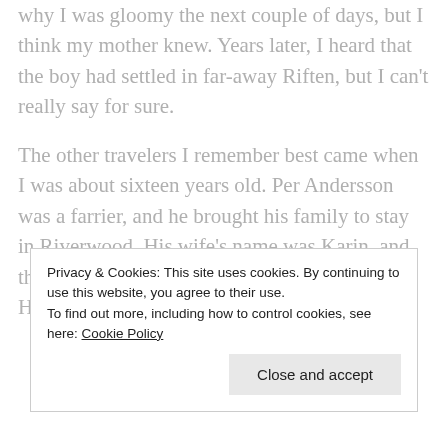why I was gloomy the next couple of days, but I think my mother knew. Years later, I heard that the boy had settled in far-away Riften, but I can't really say for sure.
The other travelers I remember best came when I was about sixteen years old. Per Andersson was a farrier, and he brought his family to stay in Riverwood. His wife's name was Karin, and they had a son about my age named Erik. Having a farrier in
Privacy & Cookies: This site uses cookies. By continuing to use this website, you agree to their use.
To find out more, including how to control cookies, see here: Cookie Policy
Close and accept